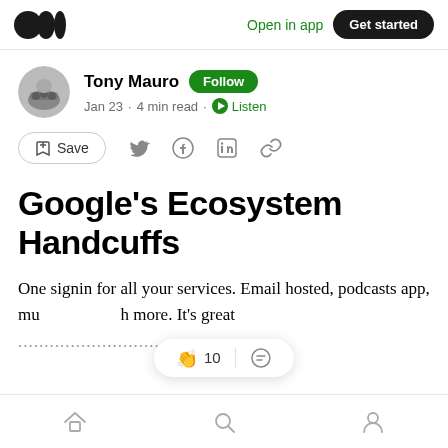Medium logo | Open in app | Get started
Tony Mauro · Follow · Jan 23 · 4 min read · Listen
Save (with social share icons)
Google's Ecosystem Handcuffs
One signin for all your services. Email hosted, podcasts app, mu... h more. It's great ...
Home | Search | Profile